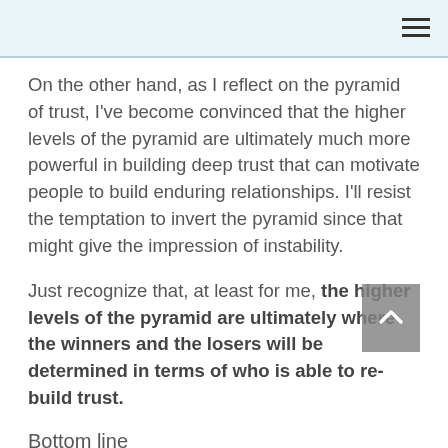On the other hand, as I reflect on the pyramid of trust, I've become convinced that the higher levels of the pyramid are ultimately much more powerful in building deep trust that can motivate people to build enduring relationships. I'll resist the temptation to invert the pyramid since that might give the impression of instability.
Just recognize that, at least for me, the higher levels of the pyramid are ultimately where the winners and the losers will be determined in terms of who is able to re-build trust.
Bottom line